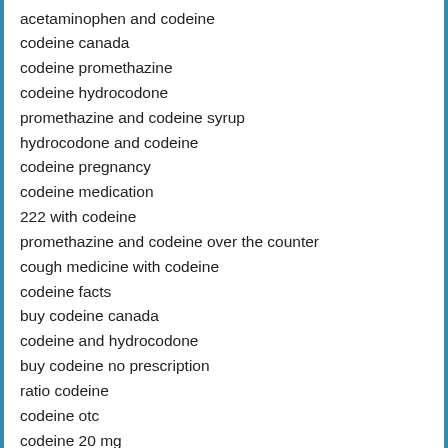acetaminophen and codeine
codeine canada
codeine promethazine
codeine hydrocodone
promethazine and codeine syrup
hydrocodone and codeine
codeine pregnancy
codeine medication
222 with codeine
promethazine and codeine over the counter
cough medicine with codeine
codeine facts
buy codeine canada
codeine and hydrocodone
buy codeine no prescription
ratio codeine
codeine otc
codeine 20 mg
codeine online pharmacy
where is codeine from
buy codeine phosphate
apap codeine
codeine in pregnancy